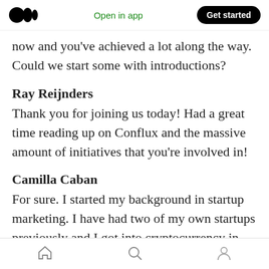Medium logo | Open in app | Get started
now and you've achieved a lot along the way. Could we start some with introductions?
Ray Reijnders
Thank you for joining us today! Had a great time reading up on Conflux and the massive amount of initiatives that you're involved in!
Camilla Caban
For sure. I started my background in startup marketing. I have had two of my own startups previously and I got into cryptocurrency in 2017. Then I joined the Conflux team in March 2020
Home | Search | Profile